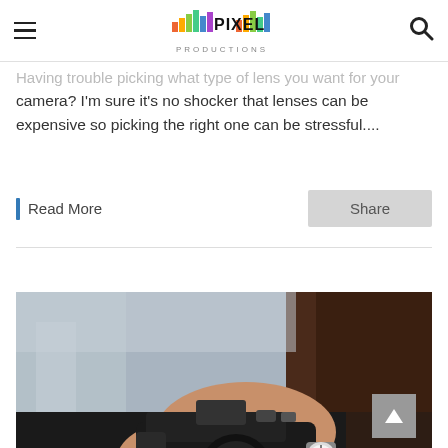PIXEL PRODUCTIONS
Having trouble picking what type of lens you want for your camera? I'm sure it's no shocker that lenses can be expensive so picking the right one can be stressful....
Read More
Share
[Figure (photo): Woman holding a DSLR camera, wearing a watch and ring, with blurred city background.]